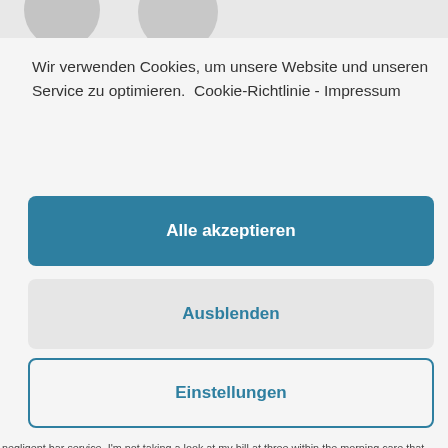[Figure (illustration): Partial gray avatar/profile icon shapes visible at top of page]
Wir verwenden Cookies, um unsere Website und unseren Service zu optimieren.  Cookie-Richtlinie - Impressum
Alle akzeptieren
Ausblenden
Einstellungen
negligent bar service. I'm not taking a look at my bill at three within the morning care that already carried 18 per cent in "party" expenses. No matter what configuration yo downloading, run the file and follow the instructions to finish the set up. As soon as